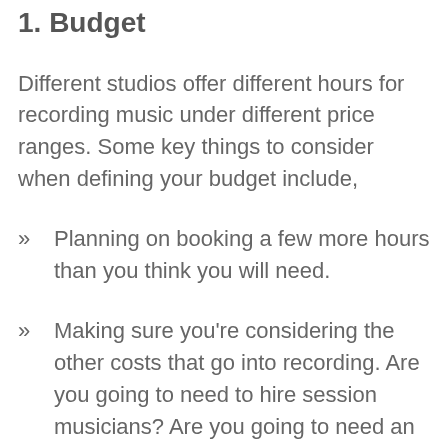1. Budget
Different studios offer different hours for recording music under different price ranges. Some key things to consider when defining your budget include,
Planning on booking a few more hours than you think you will need.
Making sure you're considering the other costs that go into recording. Are you going to need to hire session musicians? Are you going to need an in-house